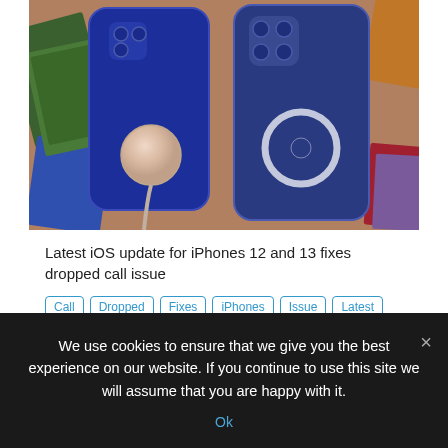[Figure (photo): Two blue iPhones (iPhone 12 and iPhone 13) lying face-down on a table surrounded by cards and photos. A circular MagSafe charger pad is attached to the left iPhone with a cable, and a MagSafe ring is visible on the right iPhone.]
Latest iOS update for iPhones 12 and 13 fixes dropped call issue
Call
Dropped
Fixes
iPhones
Issue
Latest
Update
Repin  Like  Comment
admin
We use cookies to ensure that we give you the best experience on our website. If you continue to use this site we will assume that you are happy with it.
Ok